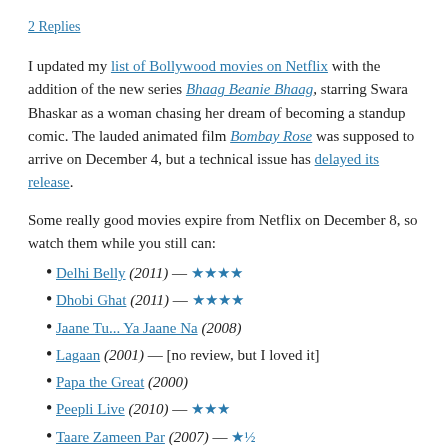2 Replies
I updated my list of Bollywood movies on Netflix with the addition of the new series Bhaag Beanie Bhaag, starring Swara Bhaskar as a woman chasing her dream of becoming a standup comic. The lauded animated film Bombay Rose was supposed to arrive on December 4, but a technical issue has delayed its release.
Some really good movies expire from Netflix on December 8, so watch them while you still can:
Delhi Belly (2011) — ★★★★
Dhobi Ghat (2011) — ★★★★
Jaane Tu… Ya Jaane Na (2008)
Lagaan (2001) — [no review, but I loved it]
Papa the Great (2000)
Peepli Live (2010) — ★★★
Taare Zameen Par (2007) — ★½